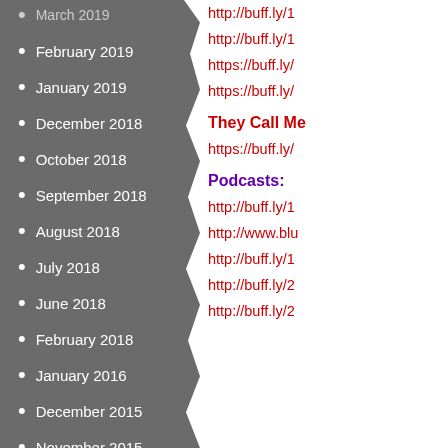March 2019
February 2019
January 2019
December 2018
October 2018
September 2018
August 2018
July 2018
June 2018
February 2018
January 2016
December 2015
November 2015
October 2015
September 2015
August 2015
http://buff.ly/1...
http://buff.ly/1...
https://buff.ly/...
https://buff.ly/...
They Call Me
https://buff.ly/...
Podcasts:
http://buff.ly/1...
http://www.blu...
http://buff.ly/1...
http://buff.ly/2...
http://buff.ly/2...